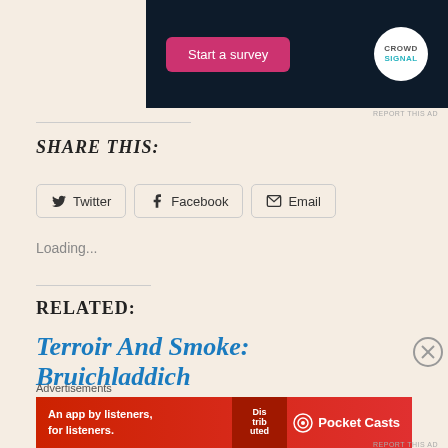[Figure (screenshot): CrowdSignal ad banner with dark navy background, pink 'Start a survey' button, and CrowdSignal circular logo on the right]
REPORT THIS AD
SHARE THIS:
Twitter   Facebook   Email
Loading...
RELATED:
Terroir And Smoke: Bruichladdich
Advertisements
[Figure (screenshot): Pocket Casts red advertisement banner: 'An app by listeners, for listeners.' with a phone image and Pocket Casts logo]